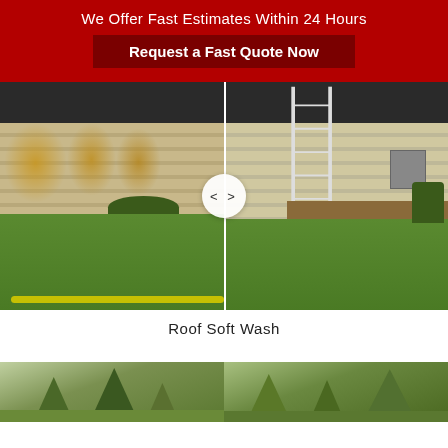We Offer Fast Estimates Within 24 Hours
Request a Fast Quote Now
[Figure (photo): Before and after comparison photo of house siding with a slider divider. Left side shows stained/dirty siding; right side shows clean siding with a ladder leaning against the house.]
Roof Soft Wash
[Figure (photo): Bottom strip showing partial before/after outdoor photos with trees and lawn.]